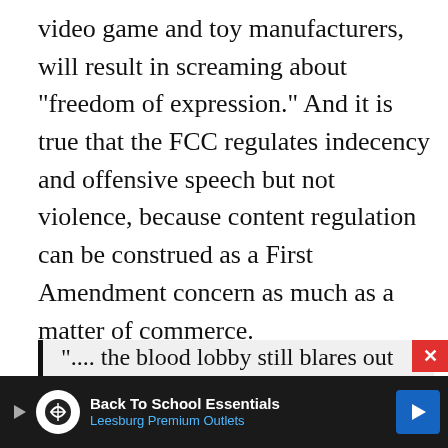video game and toy manufacturers, will result in screaming about "freedom of expression." And it is true that the FCC regulates indecency and offensive speech but not violence, because content regulation can be construed as a First Amendment concern as much as a matter of commerce.
However, the First Amendment, like the Second Amendment, has been substantially altered by powerful forces influencing the courts over time. As Adam Gopnick writes in the New Yorker:
".... the blood lobby still blares out its
Back To School Essentials Leesburg Premium Outlets